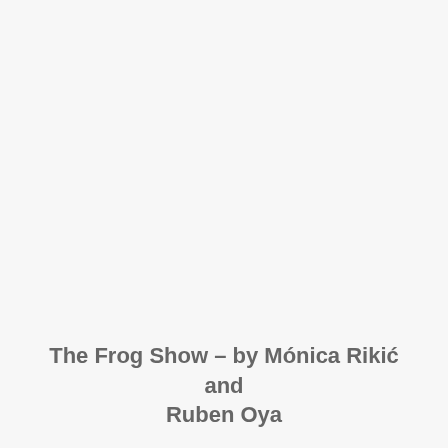The Frog Show – by Mónica Rikić and Ruben Oya